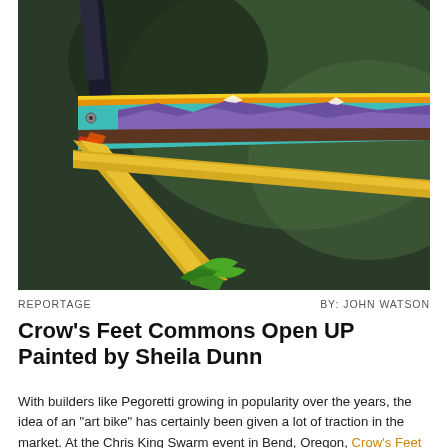[Figure (photo): Close-up photograph of a colorful painted bicycle frame. The top tube features an artistic mountain landscape painting with teal/turquoise and orange colors at top, purple mountain shapes in the middle, and the seat tube and chainstay are yellow/gold. Green foliage is visible at the bottom of the frame. Dark blurred background.]
REPORTAGE
BY: JOHN WATSON
Crow's Feet Commons Open UP Painted by Sheila Dunn
With builders like Pegoretti growing in popularity over the years, the idea of an "art bike" has certainly been given a lot of traction in the market. At the Chris King Swarm event in Bend, Oregon, Crow's Feet